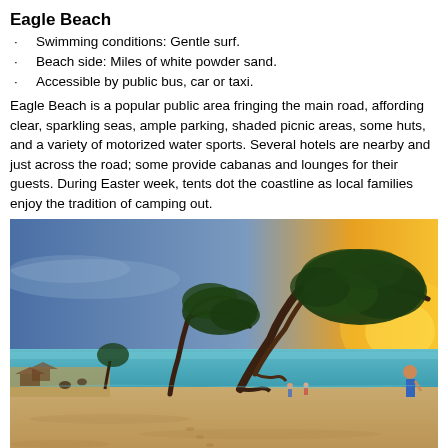Eagle Beach
Swimming conditions: Gentle surf.
Beach side: Miles of white powder sand.
Accessible by public bus, car or taxi.
Eagle Beach is a popular public area fringing the main road, affording clear, sparkling seas, ample parking, shaded picnic areas, some huts, and a variety of motorized water sports. Several hotels are nearby and just across the road; some provide cabanas and lounges for their guests. During Easter week, tents dot the coastline as local families enjoy the tradition of camping out.
[Figure (photo): Beach scene at sunset with wind-swept divi-divi trees leaning over white sand, turquoise water in background, a person standing on the right shore]